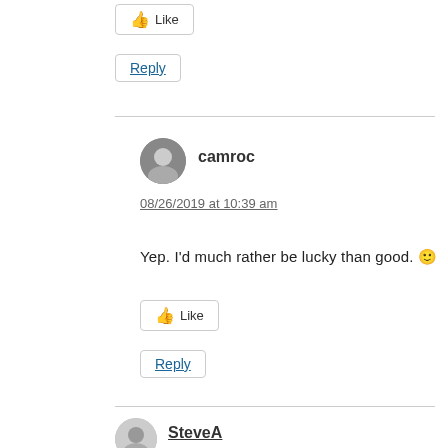[Figure (other): Like button at top]
[Figure (other): Reply button]
[Figure (other): Horizontal divider line]
[Figure (photo): Avatar photo of camroc user]
camroc
08/26/2019 at 10:39 am
Yep. I'd much rather be lucky than good. 🙂
[Figure (other): Like button]
[Figure (other): Reply button]
[Figure (other): Horizontal divider line]
[Figure (other): Avatar icon of SteveA user]
SteveA